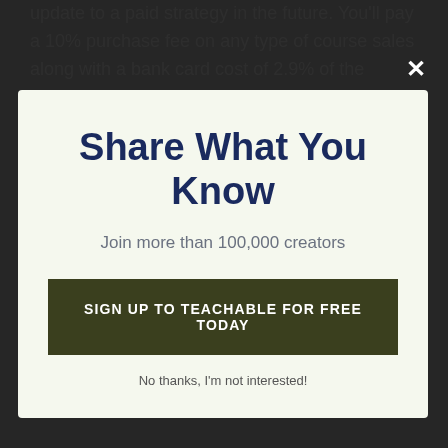update to a paid strategy in the future. You'll pay a 10% purchase fee on any type of course sales along with a bank card cost of 2.9% of the program's rate and an added 30 cents on top of
Share What You Know
Join more than 100,000 creators
SIGN UP TO TEACHABLE FOR FREE TODAY
No thanks, I'm not interested!
the Pro strategy, you pay the higher monthly fee in addition to 5% transaction fees as well as a credit card processing fee of 2.9% of the overall training course rate (as well as handling costs of